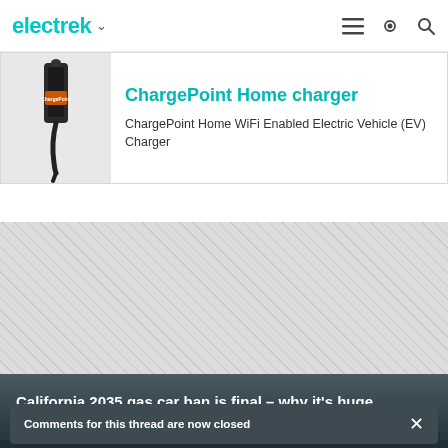electrek
ChargePoint Home charger
ChargePoint Home WiFi Enabled Electric Vehicle (EV) Charger
[Figure (photo): Gray/black background advertisement or placeholder area with diagonal stripe pattern]
California 2035 gas car ban is final – why it's huge
Comments for this thread are now closed